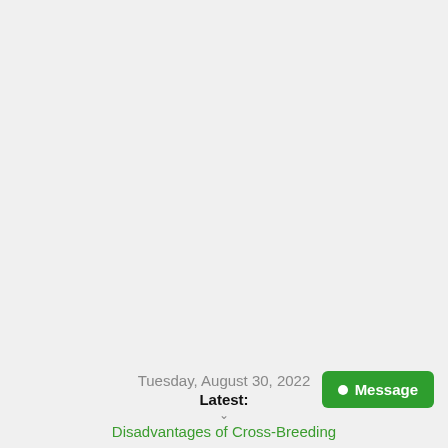[Figure (infographic): Orange circular bell/notification icon on the lower left of the page]
Tuesday, August 30, 2022
Latest:
Disadvantages of Cross-Breeding
[Figure (infographic): Green Message button with white dot and text 'Message' on the lower right]